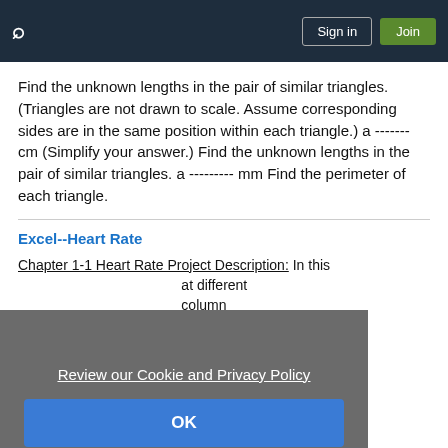Sign in | Join
Find the unknown lengths in the pair of similar triangles. (Triangles are not drawn to scale. Assume corresponding sides are in the same position within each triangle.) a ------- cm (Simplify your answer.) Find the unknown lengths in the pair of similar triangles. a --------- mm Find the perimeter of each triangle.
Excel--Heart Rate
Chapter 1-1 Heart Rate Project Description: In this at different column ula where . Download -1_Heart_Rat
Review our Cookie and Privacy Policy
OK